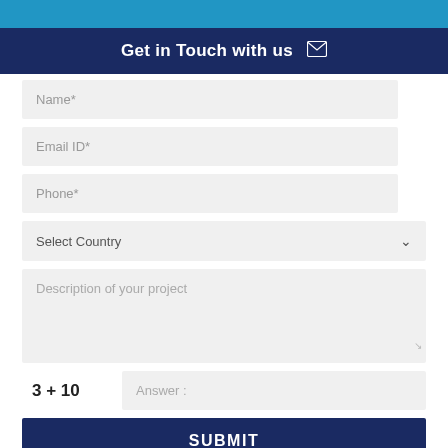Get in Touch with us
Name*
Email ID*
Phone*
Select Country
Description of your project
3 + 10   Answer :
SUBMIT